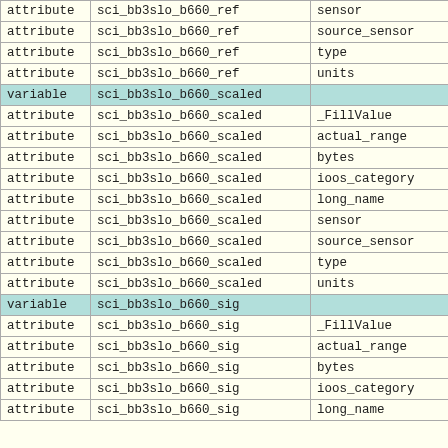|  |  |  |
| --- | --- | --- |
| attribute | sci_bb3slo_b660_ref | sensor |
| attribute | sci_bb3slo_b660_ref | source_sensor |
| attribute | sci_bb3slo_b660_ref | type |
| attribute | sci_bb3slo_b660_ref | units |
| variable | sci_bb3slo_b660_scaled |  |
| attribute | sci_bb3slo_b660_scaled | _FillValue |
| attribute | sci_bb3slo_b660_scaled | actual_range |
| attribute | sci_bb3slo_b660_scaled | bytes |
| attribute | sci_bb3slo_b660_scaled | ioos_category |
| attribute | sci_bb3slo_b660_scaled | long_name |
| attribute | sci_bb3slo_b660_scaled | sensor |
| attribute | sci_bb3slo_b660_scaled | source_sensor |
| attribute | sci_bb3slo_b660_scaled | type |
| attribute | sci_bb3slo_b660_scaled | units |
| variable | sci_bb3slo_b660_sig |  |
| attribute | sci_bb3slo_b660_sig | _FillValue |
| attribute | sci_bb3slo_b660_sig | actual_range |
| attribute | sci_bb3slo_b660_sig | bytes |
| attribute | sci_bb3slo_b660_sig | ioos_category |
| attribute | sci_bb3slo_b660_sig | long_name |